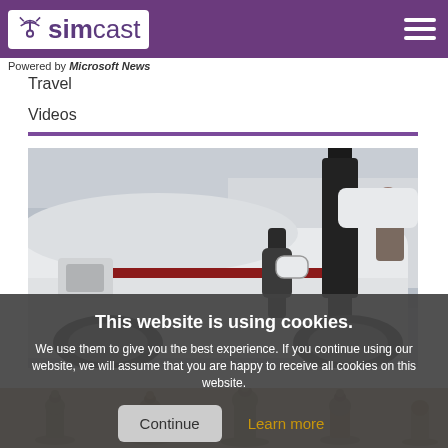simcast — Powered by Microsoft News
Travel
Videos
[Figure (photo): Electric vehicle being charged at a charging station, white car with charging cable plugged in]
This website is using cookies. We use them to give you the best experience. If you continue using our website, we will assume that you are happy to receive all cookies on this website.
[Figure (photo): Row of chess pieces (bishops/pawns) in warm sepia/golden tones, blurred background]